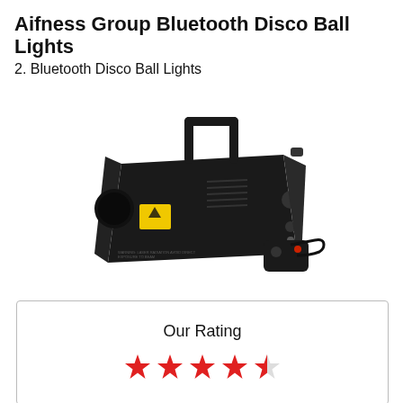Aifness Group Bluetooth Disco Ball Lights
2. Bluetooth Disco Ball Lights
[Figure (photo): Black fog machine / smoke machine with a wired remote controller. The machine has a carry handle on top, a yellow warning sticker on the front face, and a circular speaker grille. A small black wired remote with a red LED indicator is shown to the right.]
Our Rating
[Figure (other): Star rating showing approximately 4.5 out of 5 red stars]